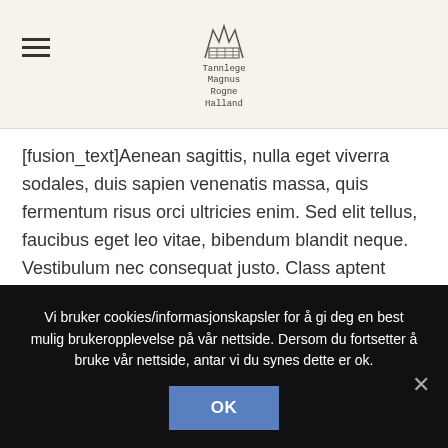Tannlege Magnus Rogne Halland (logo/header)
[fusion_text]Aenean sagittis, nulla eget viverra sodales, duis sapien venenatis massa, quis fermentum risus orci ultricies enim. Sed elit tellus, faucibus eget leo vitae, bibendum blandit neque. Vestibulum nec consequat justo. Class aptent taciti sociosqu ad litora torquent.[/fusion_text][fusion_sharing tagline=»Share This Content!» tagline_color=»» backgroundcolor=»» title=»» link=»» description=»» icons_boxed=»» icons_boxed_radius=»» color_type=»» icon_colors=»» box_colors=»» tooltip_placement=»» pinterest_image=»» hide_on_mobile=»small-
Vi bruker cookies/informasjonskapsler for å gi deg en best mulig brukeropplevelse på vår nettside. Dersom du fortsetter å bruke vår nettside, antar vi du synes dette er ok.